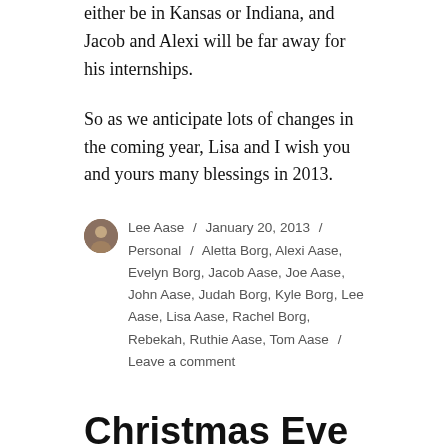either be in Kansas or Indiana, and Jacob and Alexi will be far away for his internships.
So as we anticipate lots of changes in the coming year, Lisa and I wish you and yours many blessings in 2013.
Lee Aase / January 20, 2013 / Personal / Aletta Borg, Alexi Aase, Evelyn Borg, Jacob Aase, Joe Aase, John Aase, Judah Borg, Kyle Borg, Lee Aase, Lisa Aase, Rachel Borg, Rebekah, Ruthie Aase, Tom Aase / Leave a comment
Christmas Eve Reflections on 2010